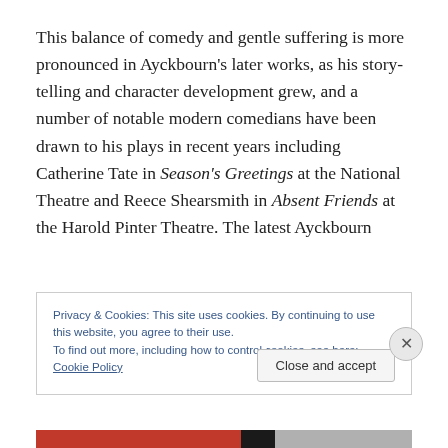This balance of comedy and gentle suffering is more pronounced in Ayckbourn's later works, as his story-telling and character development grew, and a number of notable modern comedians have been drawn to his plays in recent years including Catherine Tate in Season's Greetings at the National Theatre and Reece Shearsmith in Absent Friends at the Harold Pinter Theatre. The latest Ayckbourn
Privacy & Cookies: This site uses cookies. By continuing to use this website, you agree to their use.
To find out more, including how to control cookies, see here: Cookie Policy
Close and accept